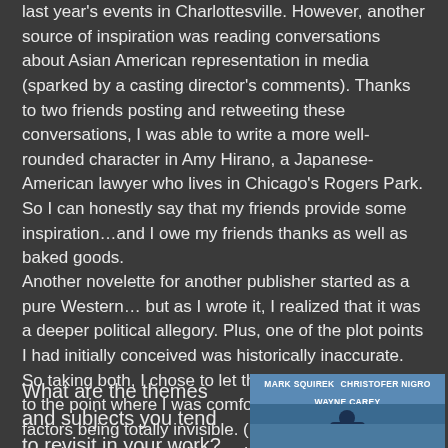last year's events in Charlottesville. However, another source of inspiration was reading conversations about Asian American representation in media (sparked by a casting director's comments). Thanks to two friends posting and retweeting these conversations, I was able to write a more well-rounded character in Amy Hirano, a Japanese-American lawyer who lives in Chicago's Rogers Park. So I can honestly say that my friends provide some inspiration…and I owe my friends thanks as well as baked goods.
Another novelette for another publisher started as a pure Western… but as I wrote it, I realized that it was a deeper political allegory. Plus, one of the plot points I had initially conceived was historically inaccurate. So taking both, I chose to let them influence the story to the point where I was comfortable with those factors being totally invisible. (Meaning that when you read it, you won't feel like you're being indoctrinated)
What are the themes and subjects you tend to revisit in your work?
[Figure (photo): Book cover showing names: Mark Squirek, Christofer Nigro, Wayne Carey, Gordon Dymowski, James Hopwood, with blue cover design and silhouetted figures]